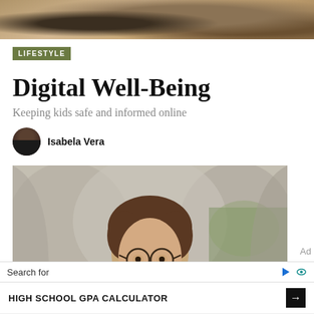[Figure (photo): Partial photo at top of page showing hands and people, cropped]
LIFESTYLE
Digital Well-Being
Keeping kids safe and informed online
Isabela Vera
[Figure (photo): Child with glasses looking out from inside a tent or canopy, with green outdoor background]
Search for
HIGH SCHOOL GPA CALCULATOR
Ad